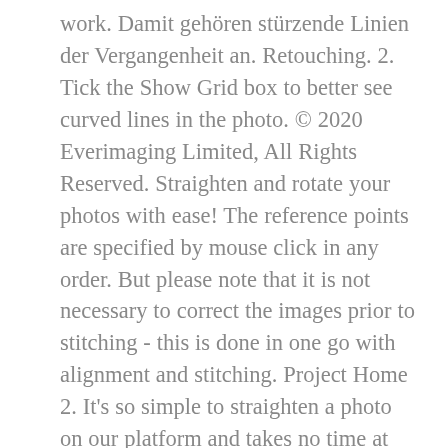work. Damit gehören stürzende Linien der Vergangenheit an. Retouching. 2. Tick the Show Grid box to better see curved lines in the photo. © 2020 Everimaging Limited, All Rights Reserved. Straighten and rotate your photos with ease! The reference points are specified by mouse click in any order. But please note that it is not necessary to correct the images prior to stitching - this is done in one go with alignment and stitching. Project Home 2. It's so simple to straighten a photo on our platform and takes no time at all. Social Media Image Generators 3. See 20 more ways, REAL ESTATE PHOTOGRAPHY TIPS FOR BEGINNERS. Just a few simple clicks all it takes to straighten and rotate your photo online to fix any errors that happened when the camera was in play and keep your shot stunning. If you are satisfied with the result, press ENTER, otherwise,